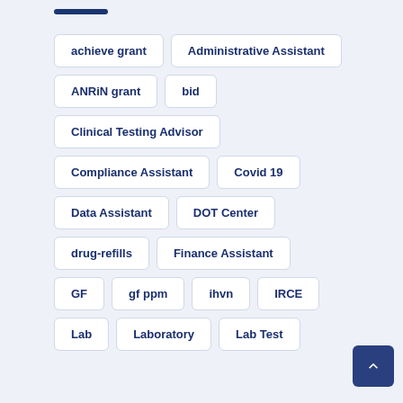achieve grant
Administrative Assistant
ANRiN grant
bid
Clinical Testing Advisor
Compliance Assistant
Covid 19
Data Assistant
DOT Center
drug-refills
Finance Assistant
GF
gf ppm
ihvn
IRCE
Lab
Laboratory
Lab Test